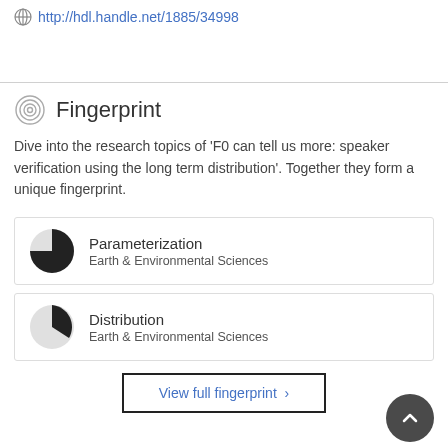http://hdl.handle.net/1885/34998
Fingerprint
Dive into the research topics of 'F0 can tell us more: speaker verification using the long term distribution'. Together they form a unique fingerprint.
Parameterization
Earth & Environmental Sciences
Distribution
Earth & Environmental Sciences
View full fingerprint ›